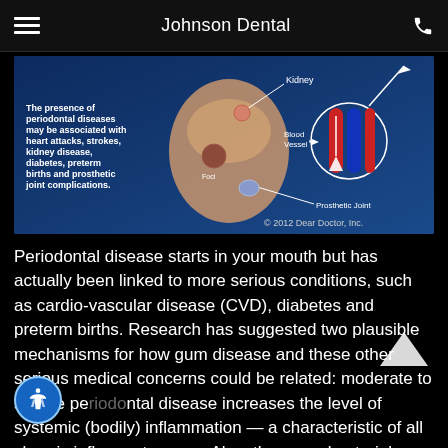Johnson Dental
[Figure (illustration): Medical illustration showing periodontal disease linked to systemic conditions including kidney, blood vessel, and prosthetic joint. Text reads: 'The presence of periodontal diseases may be associated with heart attacks, strokes, kidney disease, diabetes, preterm births and prosthetic joint complications.' Copyright 2012 Dear Doctor, Inc.]
Periodontal disease starts in your mouth but has actually been linked to more serious conditions, such as cardio-vascular disease (CVD), diabetes and preterm births. Research has suggested two plausible mechanisms for how gum disease and these other serious medical concerns could be related: moderate to severe periodontal disease increases the level of systemic (bodily) inflammation — a characteristic of all chronic inflammatory diseases. Also, the same bacterial strains that are commonly found in periodontal pockets surrounding diseased teeth have been found in blood vessel plaques of